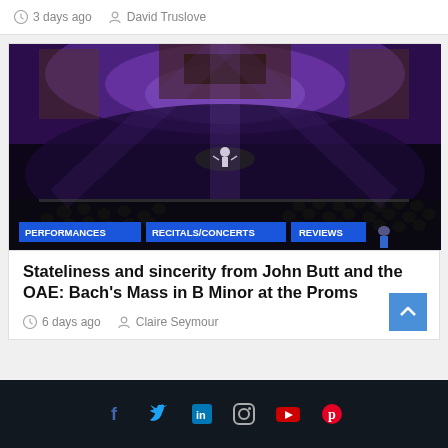3 days ago   David Truslove
[Figure (photo): Orchestra performing on stage with purple/blue lighting, conductor at podium, large choir in background. Tags visible: PERFORMANCES, RECITALS/CONCERTS, REVIEWS]
Stateliness and sincerity from John Butt and the OAE: Bach's Mass in B Minor at the Proms
6 days ago   Claire Seymour
Social media icons: Facebook, Twitter, LinkedIn, Instagram, YouTube, Pinterest